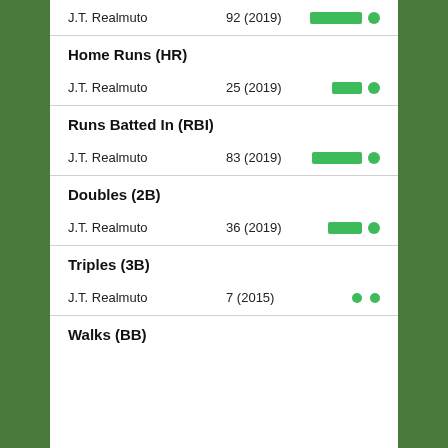J.T. Realmuto  92 (2019)
Home Runs (HR)
J.T. Realmuto  25 (2019)
Runs Batted In (RBI)
J.T. Realmuto  83 (2019)
Doubles (2B)
J.T. Realmuto  36 (2019)
Triples (3B)
J.T. Realmuto  7 (2015)
Walks (BB)